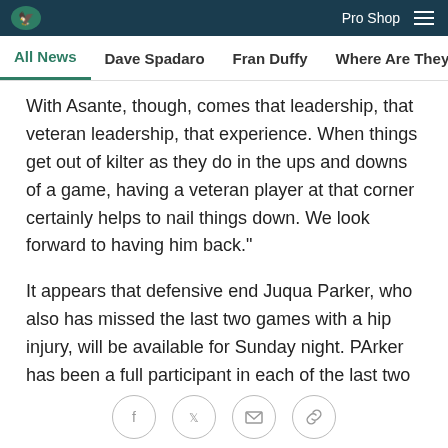Pro Shop
All News  Dave Spadaro  Fran Duffy  Where Are They Now?  Pu
With Asante, though, comes that leadership, that veteran leadership, that experience. When things get out of kilter as they do in the ups and downs of a game, having a veteran player at that corner certainly helps to nail things down. We look forward to having him back."
It appears that defensive end Juqua Parker, who also has missed the last two games with a hip injury, will be available for Sunday night. PArker has been a full participant in each of the last two practices.
For the Cowboys, linebacker Keith Brooking (foot) took part in Thursday's practice, but on a limited basis. Fellow starting linebacker Bradie James (knee) was a